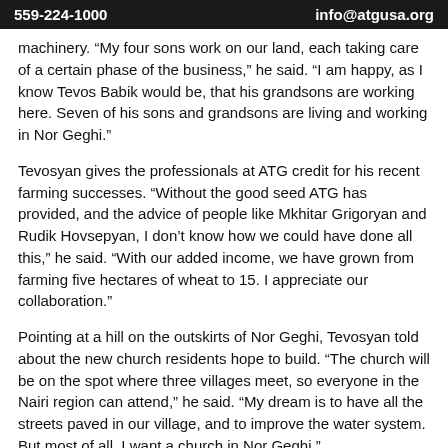559-224-1000    info@atgusa.org
machinery. “My four sons work on our land, each taking care of a certain phase of the business,” he said. “I am happy, as I know Tevos Babik would be, that his grandsons are working here. Seven of his sons and grandsons are living and working in Nor Geghi.”
Tevosyan gives the professionals at ATG credit for his recent farming successes. “Without the good seed ATG has provided, and the advice of people like Mkhitar Grigoryan and Rudik Hovsepyan, I don’t know how we could have done all this,” he said. “With our added income, we have grown from farming five hectares of wheat to 15. I appreciate our collaboration.”
Pointing at a hill on the outskirts of Nor Geghi, Tevosyan told about the new church residents hope to build. “The church will be on the spot where three villages meet, so everyone in the Nairi region can attend,” he said. “My dream is to have all the streets paved in our village, and to improve the water system. But most of all, I want a church in Nor Geghi.”
For more information about how you can help Armenia’s farmers, contact the ATG office at (559) 224-1000 or by e-mail (info@atgusa.org). Tax-